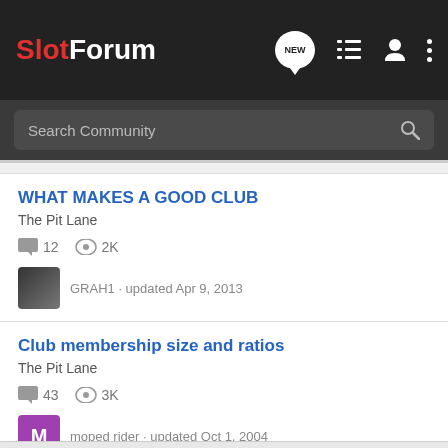SlotForum
Search Community
WHAT MAKES A GOOD CLUB
The Pit Lane
12 replies · 2K views · GRAH1 · updated Apr 9, 2013
Club membership size and ratios
The Pit Lane
43 replies · 3K views · moped rider · updated Oct 1, 2004